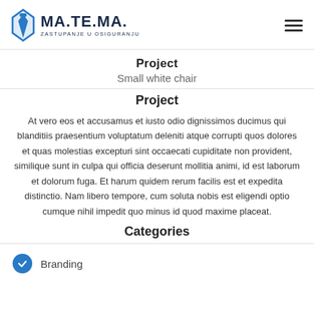MA.TE.MA. ZASTUPANJE U OSIGURANJU
Project
Small white chair
Project
At vero eos et accusamus et iusto odio dignissimos ducimus qui blanditiis praesentium voluptatum deleniti atque corrupti quos dolores et quas molestias excepturi sint occaecati cupiditate non provident, similique sunt in culpa qui officia deserunt mollitia animi, id est laborum et dolorum fuga. Et harum quidem rerum facilis est et expedita distinctio. Nam libero tempore, cum soluta nobis est eligendi optio cumque nihil impedit quo minus id quod maxime placeat.
Categories
Branding